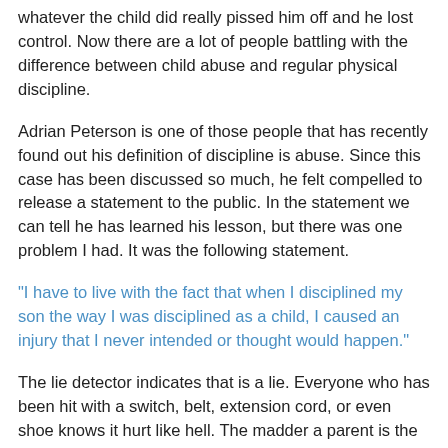whatever the child did really pissed him off and he lost control. Now there are a lot of people battling with the difference between child abuse and regular physical discipline.
Adrian Peterson is one of those people that has recently found out his definition of discipline is abuse. Since this case has been discussed so much, he felt compelled to release a statement to the public. In the statement we can tell he has learned his lesson, but there was one problem I had. It was the following statement.
"I have to live with the fact that when I disciplined my son the way I was disciplined as a child, I caused an injury that I never intended or thought would happen."
The lie detector indicates that is a lie. Everyone who has been hit with a switch, belt, extension cord, or even shoe knows it hurt like hell. The madder a parent is the harder they swing whatever they are holding at your bare skin. The intention of hitting a child with any of these items is for them to feel pain.